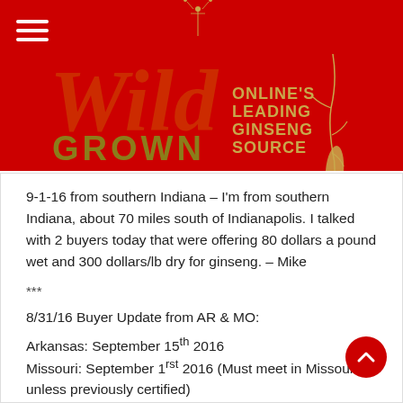[Figure (logo): Wild Grown logo on red background with text 'ONLINE'S LEADING GINSENG SOURCE' and hamburger menu icon]
9-1-16 from southern Indiana – I'm from southern Indiana, about 70 miles south of Indianapolis. I talked with 2 buyers today that were offering 80 dollars a pound wet and 300 dollars/lb dry for ginseng. – Mike
***
8/31/16 Buyer Update from AR & MO:
Arkansas: September 15th 2016
Missouri: September 1rst 2016 (Must meet in Missouri, unless previously certified)